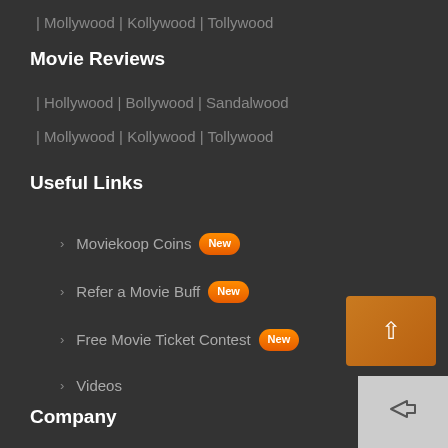| Mollywood | Kollywood | Tollywood
Movie Reviews
| Hollywood | Bollywood | Sandalwood
| Mollywood | Kollywood | Tollywood
Useful Links
Moviekoop Coins New
Refer a Movie Buff New
Free Movie Ticket Contest New
Videos
Company